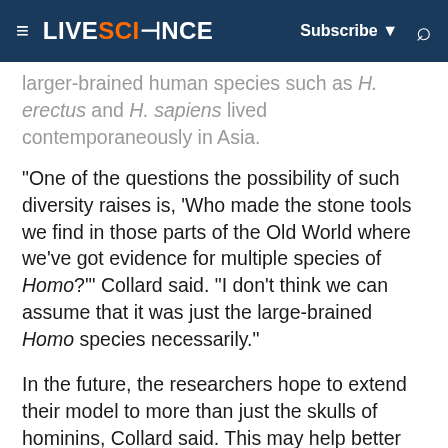LIVESCIENCE | Subscribe | Search
larger-brained human species such as H. erectus and H. sapiens lived contemporaneously in Asia.
"One of the questions the possibility of such diversity raises is, 'Who made the stone tools we find in those parts of the Old World where we've got evidence for multiple species of Homo?'" Collard said. "I don't think we can assume that it was just the large-brained Homo species necessarily."
In the future, the researchers hope to extend their model to more than just the skulls of hominins, Collard said. This may help better pinpoint which hominin species H. naledi is most closely related to.
The scientists detailed their findings in the August